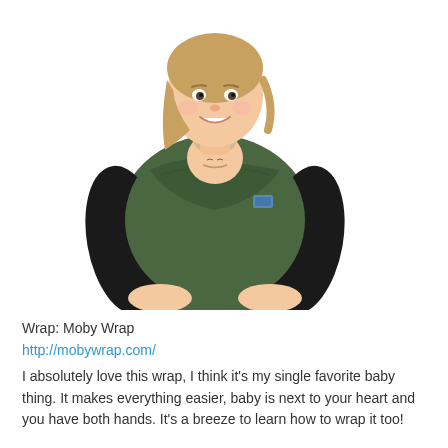[Figure (photo): A smiling woman with blonde hair wearing a green Moby Wrap baby carrier, with a baby nestled against her chest. She is wearing a black long-sleeve shirt underneath the green wrap, which also has a small blue label visible. The baby appears to be sleeping or resting with eyes closed.]
Wrap: Moby Wrap
http://mobywrap.com/
I absolutely love this wrap, I think it's my single favorite baby thing. It makes everything easier, baby is next to your heart and you have both hands. It's a breeze to learn how to wrap it too!